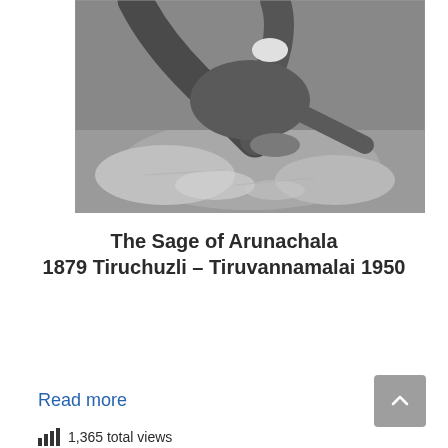[Figure (photo): Black and white photograph of a person seated, with legs crossed, on rocky ground. The image shows the lower body and torso area of a sage figure.]
The Sage of Arunachala
1879 Tiruchuzli – Tiruvannamalai 1950
Read more
1,365 total views